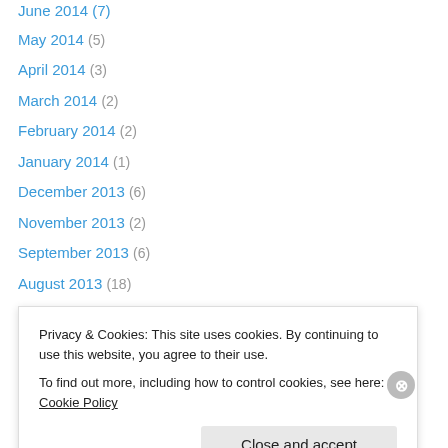May 2014 (5)
April 2014 (3)
March 2014 (2)
February 2014 (2)
January 2014 (1)
December 2013 (6)
November 2013 (2)
September 2013 (6)
August 2013 (18)
July 2013 (15)
June 2013 (9)
May 2013 (7)
April 2013 (5)
Privacy & Cookies: This site uses cookies. By continuing to use this website, you agree to their use. To find out more, including how to control cookies, see here: Cookie Policy
Close and accept